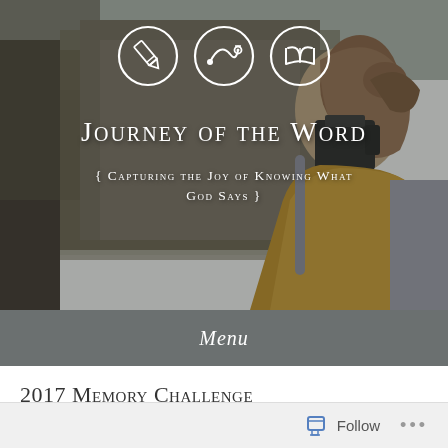[Figure (photo): Website header image: a woman from behind holding a camera up to her face, wearing a yellow knit sweater, with rocky cliffs in the background. Overlaid with three white circle icons (pencil, map path, open book) and white text.]
Journey of the Word
{ Capturing the Joy of Knowing What God Says }
Menu
2017 Memory Challenge
Follow